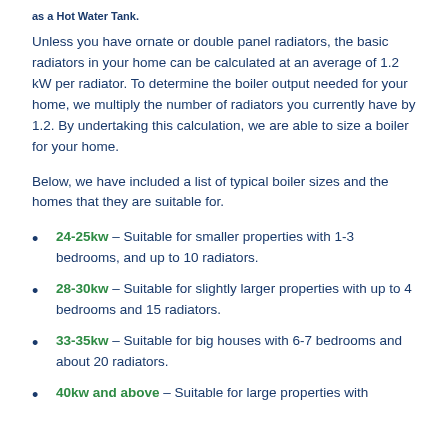as a Hot Water Tank.
Unless you have ornate or double panel radiators, the basic radiators in your home can be calculated at an average of 1.2 kW per radiator. To determine the boiler output needed for your home, we multiply the number of radiators you currently have by 1.2. By undertaking this calculation, we are able to size a boiler for your home.
Below, we have included a list of typical boiler sizes and the homes that they are suitable for.
24-25kw – Suitable for smaller properties with 1-3 bedrooms, and up to 10 radiators.
28-30kw – Suitable for slightly larger properties with up to 4 bedrooms and 15 radiators.
33-35kw – Suitable for big houses with 6-7 bedrooms and about 20 radiators.
40kw and above – Suitable for large properties with